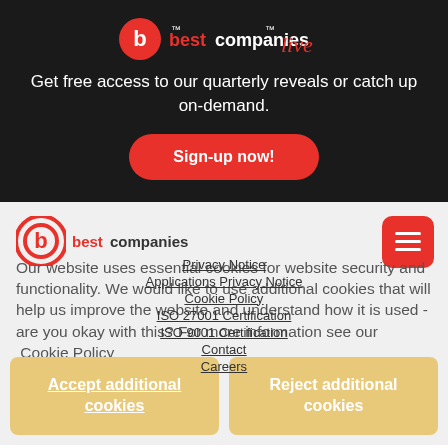[Figure (logo): Best Companies Live logo — red circle with white 'b', followed by 'best companies' in red/white text and 'live' in red script]
Get free access to our quarterly reveals or catch up on-demand.
Sign-up now!
[Figure (logo): Best Companies logo — red circle with white 'b' and 'best companies' text]
Our website uses essential cookies for website security and functionality. We would like to use additional cookies that will help us improve the website and understand how it is used - are you okay with this? For more information see our Cookie Policy
Privacy Notice
Applications Privacy Notice
Cookie Policy
ISO 27001 Certification
ISO 9001 Certification
Contact
Careers
Accept additional cookies
Reject additional cookies